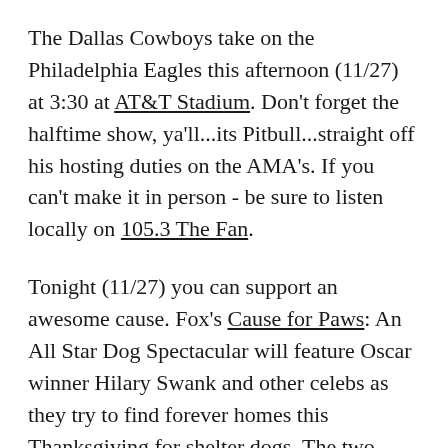The Dallas Cowboys take on the Philadelphia Eagles this afternoon (11/27) at 3:30 at AT&T Stadium. Don't forget the halftime show, ya'll...its Pitbull...straight off his hosting duties on the AMA's. If you can't make it in person - be sure to listen locally on 105.3 The Fan.
Tonight (11/27) you can support an awesome cause. Fox's Cause for Paws: An All Star Dog Spectacular will feature Oscar winner Hilary Swank and other celebs as they try to find forever homes this Thanksgiving for shelter dogs. The two-hour program will have dog stories, viral videos, musical tributes, a fundraiser, and contests.
More than 4 million lights make up the drive-